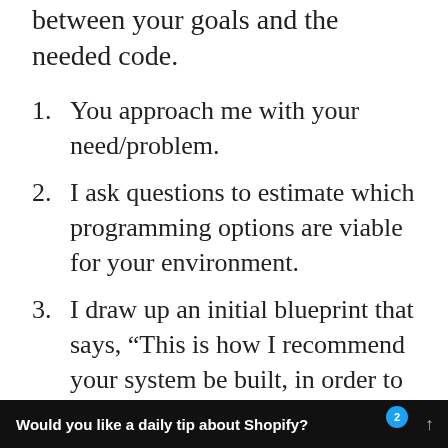between your goals and the needed code.
1. You approach me with your need/problem.
2. I ask questions to estimate which programming options are viable for your environment.
3. I draw up an initial blueprint that says, “This is how I recommend your system be built, in order to meet your needs and your budget.”
4. You read through the initial blueprint and give feedback. We make changes until the final blueprint satisfies all your needs (and budget).
Would you like a daily tip about Shopify?